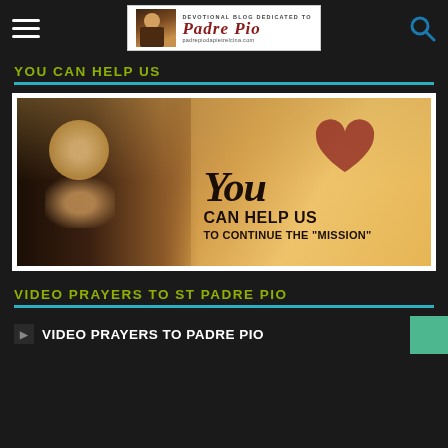Devotional Blog Dedicated to Padre Pio — padrepiodapietrelcina.com
YOU CAN HELP US
[Figure (photo): Promotional image showing Padre Pio praying on the left and hands holding a heart shape with text 'You CAN HELP US TO CONTINUE THE "MISSION"' on the right]
VIDEO PRAYERS TO ST PADRE PIO
▶ VIDEO PRAYERS TO PADRE PIO